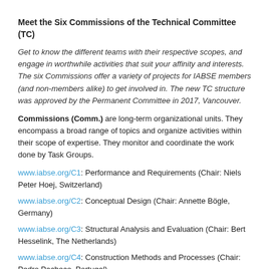Meet the Six Commissions of the Technical Committee (TC)
Get to know the different teams with their respective scopes, and engage in worthwhile activities that suit your affinity and interests. The six Commissions offer a variety of projects for IABSE members (and non-members alike) to get involved in. The new TC structure was approved by the Permanent Committee in 2017, Vancouver.
Commissions (Comm.) are long-term organizational units. They encompass a broad range of topics and organize activities within their scope of expertise. They monitor and coordinate the work done by Task Groups.
www.iabse.org/C1: Performance and Requirements (Chair: Niels Peter Hoej, Switzerland)
www.iabse.org/C2: Conceptual Design (Chair: Annette Bögle, Germany)
www.iabse.org/C3: Structural Analysis and Evaluation (Chair: Bert Hesselink, The Netherlands)
www.iabse.org/C4: Construction Methods and Processes (Chair: Pedro Pacheco, Portugal)
www.iabse.org/C5: Existing Structures (Chair: Rade Hajdin, Switzerland)